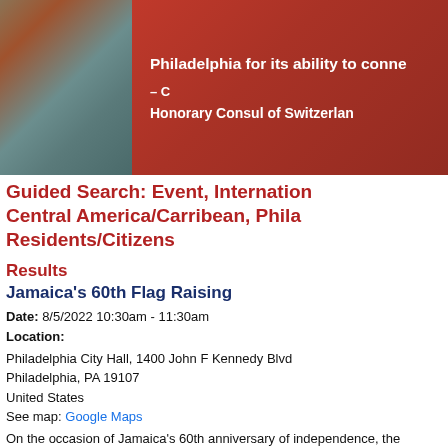[Figure (photo): Header banner with a photo on the left showing rocky/coastal terrain, and a red background on the right with white bold text reading 'Philadelphia for its ability to conne...' and '– C...' and 'Honorary Consul of Switzerlan...']
Guided Search: Event, International, Central America/Carribean, Philadelphia, Residents/Citizens
Results
Jamaica's 60th Flag Raising
Date: 8/5/2022 10:30am - 11:30am
Location:
Philadelphia City Hall, 1400 John F Kennedy Blvd
Philadelphia, PA 19107
United States
See map: Google Maps
On the occasion of Jamaica's 60th anniversary of independence, the honorary Christopher Chaplin, invites you to the Jamaica flag-raising ceremony.